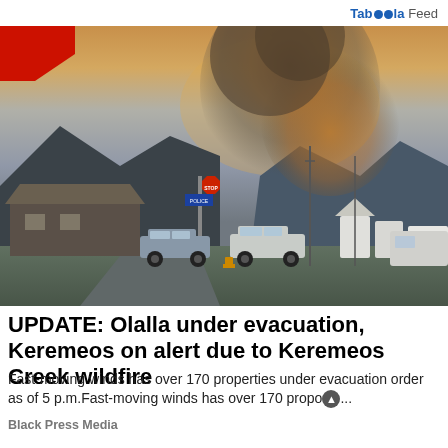Taboola Feed
[Figure (photo): Wildfire smoke plume rising above mountains near Keremeos, with police vehicles and buildings in foreground]
UPDATE: Olalla under evacuation, Keremeos on alert due to Keremeos Creek wildfire
Fast-moving winds has over 170 properties under evacuation order as of 5 p.m.Fast-moving winds has over 170 propo...
Black Press Media